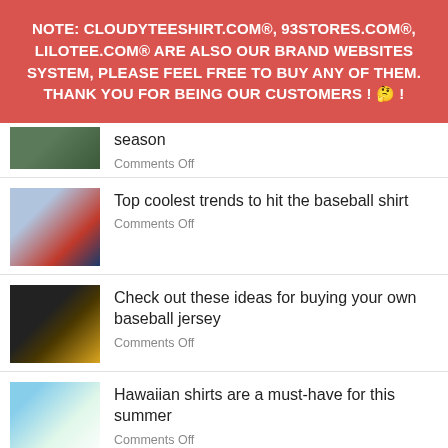NOTE: CLOUDYTEESHIRT.COM®, 93STORES.COM®, LILOTEE.COM® ARE ALSO OUR BRAND WEBSITES SYSTEM, PLEASE FEEL FREE TO BUY ANY OF THEM. THANK YOU FOR BEING OUR CUSTOMERS ! 🤔 !
season
Comments Off
Top coolest trends to hit the baseball shirt
Comments Off
Check out these ideas for buying your own baseball jersey
Comments Off
Hawaiian shirts are a must-have for this summer
Comments Off